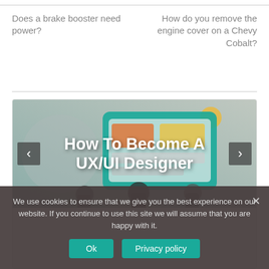Does a brake booster need power?
How do you remove the engine cover on a Chevy Cobalt?
[Figure (illustration): A banner/card image with illustrated UX/UI design scene showing designers working on a large screen with UI elements, overlaid with text 'How To Become A UX/UI Designer'. Navigation arrows on left and right sides.]
We use cookies to ensure that we give you the best experience on our website. If you continue to use this site we will assume that you are happy with it.